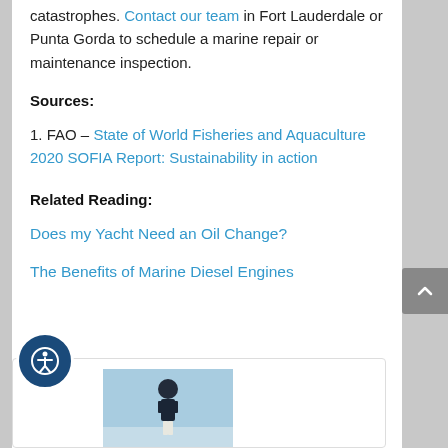catastrophes. Contact our team in Fort Lauderdale or Punta Gorda to schedule a marine repair or maintenance inspection.
Sources:
1. FAO – State of World Fisheries and Aquaculture 2020 SOFIA Report: Sustainability in action
Related Reading:
Does my Yacht Need an Oil Change?
The Benefits of Marine Diesel Engines
[Figure (photo): Person standing on a boat against a blue sky background]